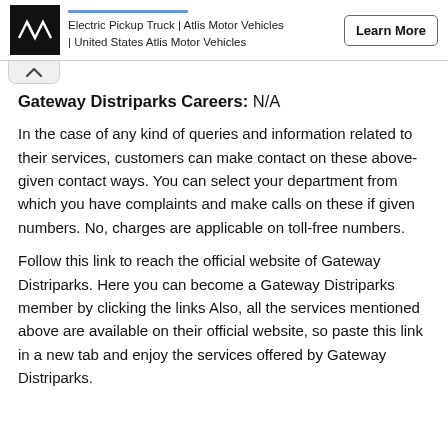[Figure (screenshot): Ad banner with Atlis Motor Vehicles logo, text 'Electric Pickup Truck | Atlis Motor Vehicles | United States Atlis Motor Vehicles', and a 'Learn More' button]
Gateway Distriparks Careers: N/A
In the case of any kind of queries and information related to their services, customers can make contact on these above-given contact ways. You can select your department from which you have complaints and make calls on these if given numbers. No, charges are applicable on toll-free numbers.
Follow this link to reach the official website of Gateway Distriparks. Here you can become a Gateway Distriparks member by clicking the links Also, all the services mentioned above are available on their official website, so paste this link in a new tab and enjoy the services offered by Gateway Distriparks.